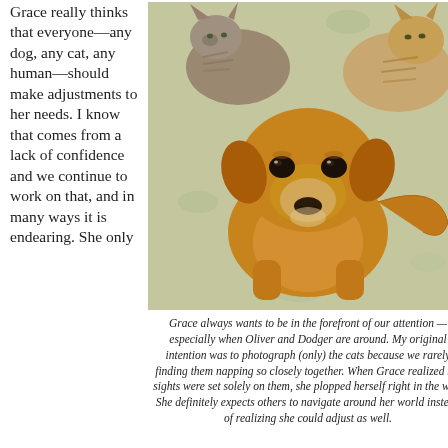Grace really thinks that everyone—any dog, any cat, any human—should make adjustments to her needs. I know that comes from a lack of confidence and we continue to work on that, and in many ways it is endearing. She only
[Figure (photo): A brown/tan dog (Grace) sitting on a bed with floral patterned bedding, looking directly at the camera with soulful brown eyes. Two tabby cats are visible in the background lounging on the same bed.]
Grace always wants to be in the forefront of our attention — especially when Oliver and Dodger are around. My original intention was to photograph (only) the cats because we rarely finding them napping so closely together. When Grace realized my sights were set solely on them, she plopped herself right in the way. She definitely expects others to navigate around her world instead of realizing she could adjust as well.